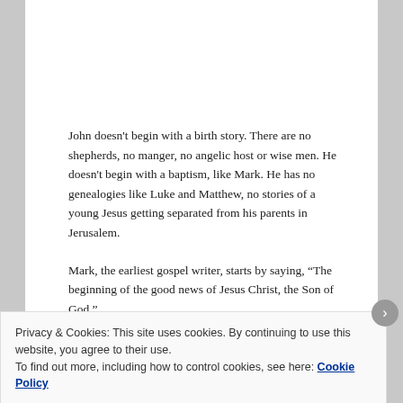John doesn't begin with a birth story. There are no shepherds, no manger, no angelic host or wise men. He doesn't begin with a baptism, like Mark. He has no genealogies like Luke and Matthew, no stories of a young Jesus getting separated from his parents in Jerusalem.
Mark, the earliest gospel writer, starts by saying, “The beginning of the good news of Jesus Christ, the Son of God.”
Privacy & Cookies: This site uses cookies. By continuing to use this website, you agree to their use.
To find out more, including how to control cookies, see here: Cookie Policy